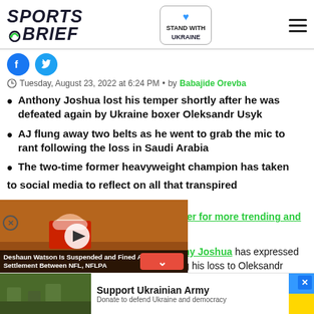Sports Brief — Stand with Ukraine
Tuesday, August 23, 2022 at 6:24 PM · by Babajide Orevba
Anthony Joshua lost his temper shortly after he was defeated again by Ukraine boxer Oleksandr Usyk
AJ flung away two belts as he went to grab the mic to rant following the loss in Saudi Arabia
The two-time former heavyweight champion has taken to social media to reflect on all that transpired
ter for more trending and
[Figure (screenshot): Video thumbnail showing football player with caption: Deshaun Watson Is Suspended and Fined After Settlement Between NFL, NFLPA]
ny Joshua has expressed g his loss to Oleksandr
[Figure (other): Support Ukrainian Army advertisement banner: Donate to defend Ukraine and democracy]